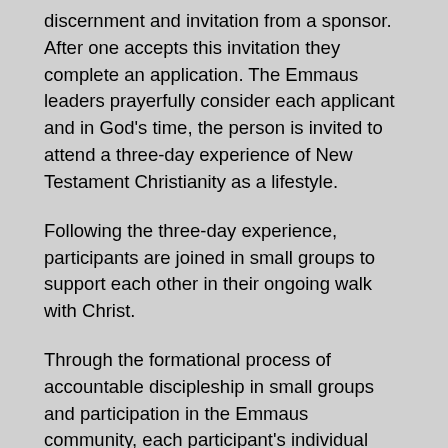discernment and invitation from a sponsor. After one accepts this invitation they complete an application. The Emmaus leaders prayerfully consider each applicant and in God’s time, the person is invited to attend a three-day experience of New Testament Christianity as a lifestyle.
Following the three-day experience, participants are joined in small groups to support each other in their ongoing walk with Christ.
Through the formational process of accountable discipleship in small groups and participation in the Emmaus community, each participant’s individual gifts and servant-leadership skills are developed for use in the local church and its mission. Participants are encouraged to find ways to live out their individual call to discipleship in their home, church, and community.
The objective of Emmaus is to inspire, challenge, and equip the local church members for Christian action in their homes, churches, communities and places of work. Emmaus lifts up a